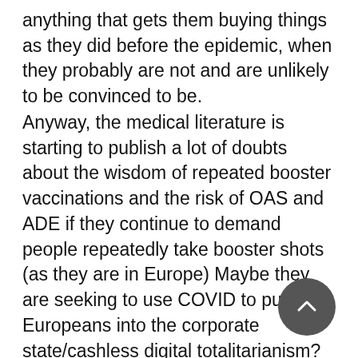anything that gets them buying things as they did before the epidemic, when they probably are not and are unlikely to be convinced to be.
Anyway, the medical literature is starting to publish a lot of doubts about the wisdom of repeated booster vaccinations and the risk of OAS and ADE if they continue to demand people repeatedly take booster shots (as they are in Europe) Maybe they are seeking to use COVID to push Europeans into the corporate state/cashless digital totalitarianism? Thats what the US payment companies want. Then they get a cut of every transaction and also get a lot of payments from the Deep State for serving up digital data on people they are watching. That has always been a big part of their business model. Yes, social networks support themselves by spying on